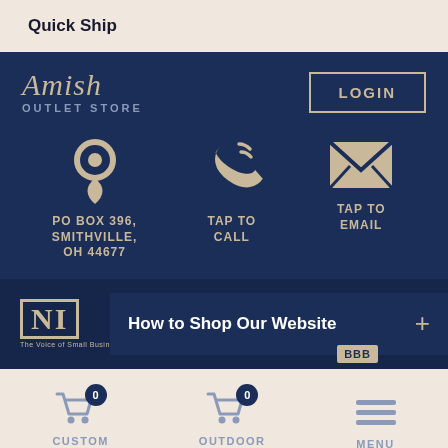Quick Ship
[Figure (logo): Amish Outlet Store logo with script Amish text and LOGIN button]
PO BOX 396, SMITHVILLE, OH 44677
TAP TO CALL
TAP TO EMAIL
How to Shop Our Website
The Voice of Small Business.
BBB
CUSTOM QUOTE
OUTDOOR FURNITURE
MENU